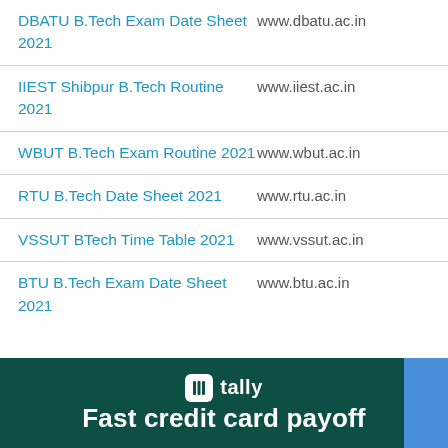| Exam/Routine Name | Website |
| --- | --- |
| DBATU B.Tech Exam Date Sheet 2021 | www.dbatu.ac.in |
| IIEST Shibpur B.Tech Routine 2021 | www.iiest.ac.in |
| WBUT B.Tech Exam Routine 2021 | www.wbut.ac.in |
| RTU B.Tech Date Sheet 2021 | www.rtu.ac.in |
| VSSUT BTech Time Table 2021 | www.vssut.ac.in |
| BTU B.Tech Exam Date Sheet 2021 | www.btu.ac.in |
[Figure (other): Tally app advertisement banner with text 'Fast credit card payoff' on dark green background with a blue button on the right]